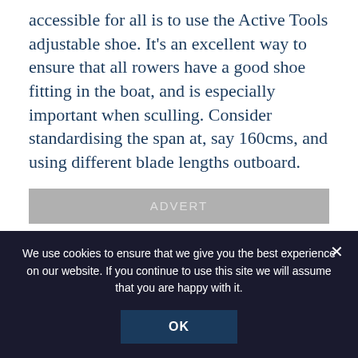accessible for all is to use the Active Tools adjustable shoe. It's an excellent way to ensure that all rowers have a good shoe fitting in the boat, and is especially important when sculling. Consider standardising the span at, say 160cms, and using different blade lengths outboard.
[Figure (other): Gray advertisement placeholder bar with text 'ADVERT']
Tags: Coaching, Courses and Workshops
[Figure (other): Social media sharing buttons: Facebook (blue), Twitter (light blue), LinkedIn (blue), YouTube (red), and one more (gray)]
We use cookies to ensure that we give you the best experience on our website. If you continue to use this site we will assume that you are happy with it.